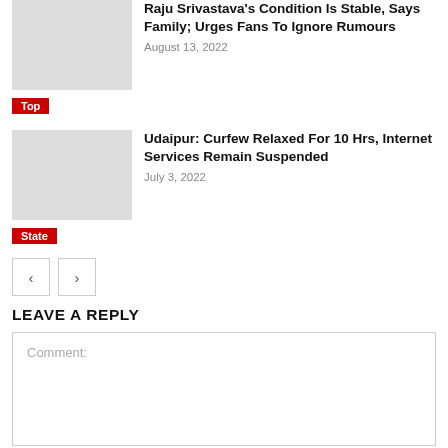Raju Srivastava's Condition Is Stable, Says Family; Urges Fans To Ignore Rumours
August 13, 2022
Top
Udaipur: Curfew Relaxed For 10 Hrs, Internet Services Remain Suspended
July 3, 2022
State
LEAVE A REPLY
Comment: